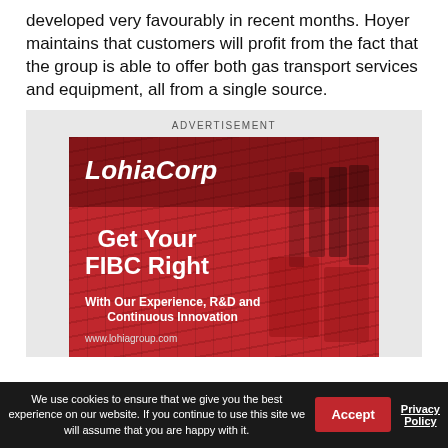developed very favourably in recent months. Hoyer maintains that customers will profit from the fact that the group is able to offer both gas transport services and equipment, all from a single source.
[Figure (illustration): LohiaCorp advertisement with red background showing industrial FIBC bags. Text reads: LohiaCorp, Get Your FIBC Right, With Our Experience, R&D and Continuous Innovation, www.lohiagroup.com. Above the image is the label ADVERTISEMENT.]
We use cookies to ensure that we give you the best experience on our website. If you continue to use this site we will assume that you are happy with it.